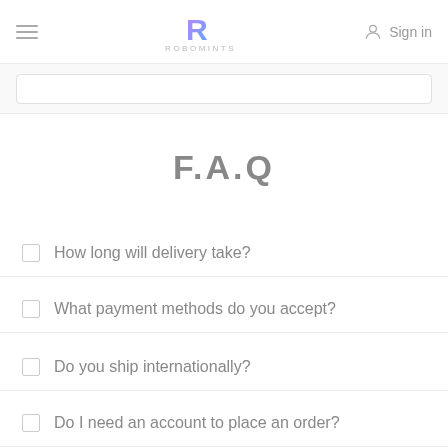R RoboMints Sign in
F.A.Q
How long will delivery take?
What payment methods do you accept?
Do you ship internationally?
Do I need an account to place an order?